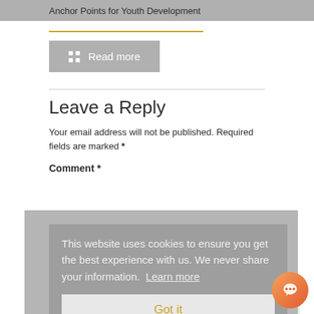Anchor Points for Youth Development
Read more
Leave a Reply
Your email address will not be published. Required fields are marked *
Comment *
This website uses cookies to ensure you get the best experience with us. We never share your information. Learn more
Got it
Name